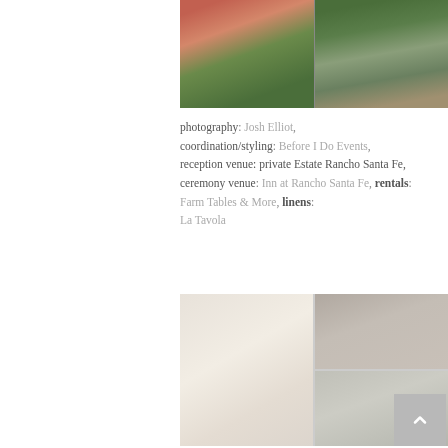[Figure (photo): Two wedding ceremony photos side by side: left shows a floral arch with pink and coral flowers and greenery; right shows a outdoor ceremony aisle with chairs, candles, and floral decorations on green grass.]
photography: Josh Elliot, coordination/styling: Before I Do Events, reception venue: private Estate Rancho Santa Fe, ceremony venue: Inn at Rancho Santa Fe, rentals: Farm Tables & More, linens: La Tavola
[Figure (photo): Three wedding reception photos arranged in a grid: top-left shows reception hall with long tables and chiavari chairs with white floral centerpieces; bottom-left shows close-up of white flower and greenery arrangement with candles; right (spanning both rows) shows a tall elegant white floral centerpiece arrangement in a crystal vase on a table.]